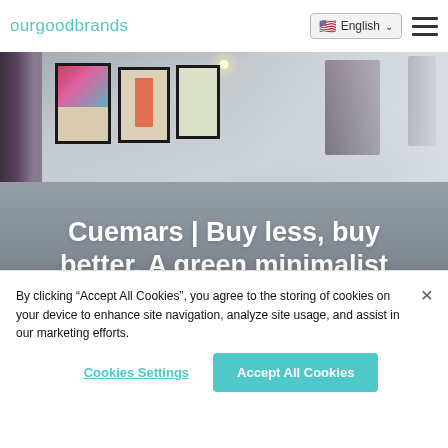ourgoodbrands
[Figure (photo): Interior of a minimalist lifestyle shop with framed artwork on white walls, clothing on hangers, and an overhead light]
Cuemars | Buy less, buy better. A green minimalist lifestyle shop supporting local designers
By clicking “Accept All Cookies”, you agree to the storing of cookies on your device to enhance site navigation, analyze site usage, and assist in our marketing efforts.
Cookies Settings
Accept All Cookies